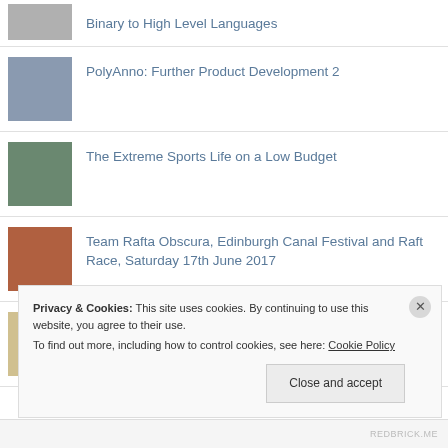Binary to High Level Languages
PolyAnno: Further Product Development 2
The Extreme Sports Life on a Low Budget
Team Rafta Obscura, Edinburgh Canal Festival and Raft Race, Saturday 17th June 2017
A Very Brief Guide To Design Movements – Blobism
Privacy & Cookies: This site uses cookies. By continuing to use this website, you agree to their use.
To find out more, including how to control cookies, see here: Cookie Policy
Close and accept
REDBRICK.ME